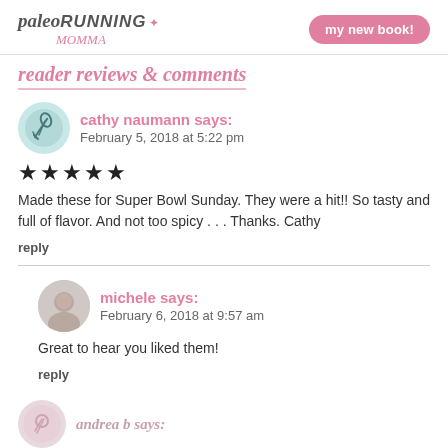paleo RUNNING MOMMA | my new book!
reader reviews & comments
cathy naumann says:
February 5, 2018 at 5:22 pm
★★★★★
Made these for Super Bowl Sunday. They were a hit!! So tasty and full of flavor. And not too spicy . . . Thanks. Cathy
reply
michele says:
February 6, 2018 at 9:57 am
Great to hear you liked them!
reply
andrea b says: